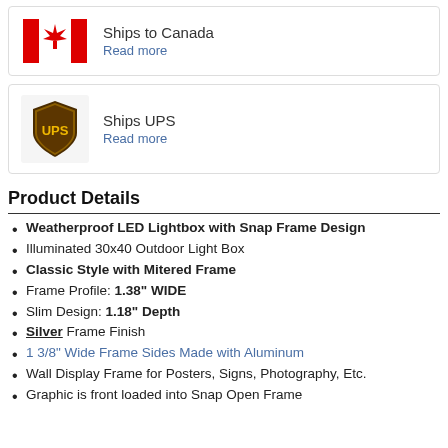[Figure (logo): Canadian flag icon (red and white with maple leaf)]
Ships to Canada
Read more
[Figure (logo): UPS logo (brown shield with golden UPS text)]
Ships UPS
Read more
Product Details
Weatherproof LED Lightbox with Snap Frame Design
Illuminated 30x40 Outdoor Light Box
Classic Style with Mitered Frame
Frame Profile: 1.38" WIDE
Slim Design: 1.18" Depth
Silver Frame Finish
1 3/8" Wide Frame Sides Made with Aluminum
Wall Display Frame for Posters, Signs, Photography, Etc.
Graphic is front loaded into Snap Open Frame